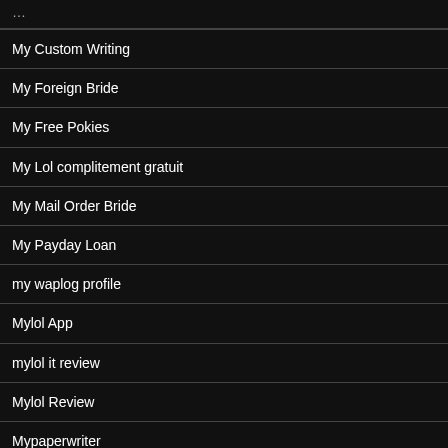My Custom Writing
My Foreign Bride
My Free Pokies
My Lol complitement gratuit
My Mail Order Bride
My Payday Loan
my waplog profile
Mylol App
mylol it review
Mylol Review
Mypaperwriter
Narrative Essay Topics For High School Students